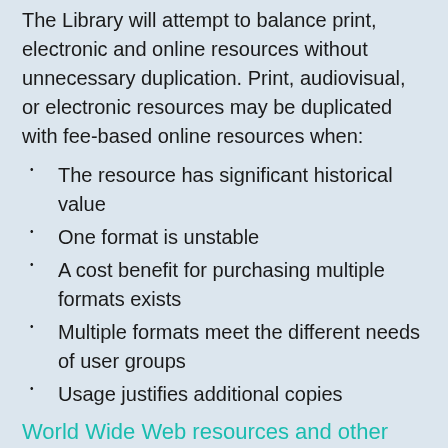The Library will attempt to balance print, electronic and online resources without unnecessary duplication. Print, audiovisual, or electronic resources may be duplicated with fee-based online resources when:
The resource has significant historical value
One format is unstable
A cost benefit for purchasing multiple formats exists
Multiple formats meet the different needs of user groups
Usage justifies additional copies
World Wide Web resources and other free resources: